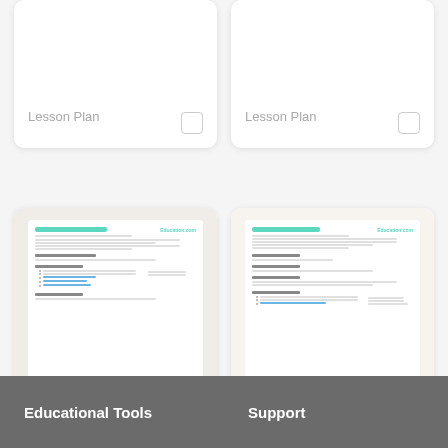Lesson Plan
Lesson Plan
[Figure (screenshot): Mini preview of Here's What I Think! lesson plan document]
Here's What I Think!
Lesson Plan
[Figure (screenshot): Mini preview of Conclude a Story lesson plan document]
Conclude a Story
EL  Lesson Plan
Educational Tools
Support